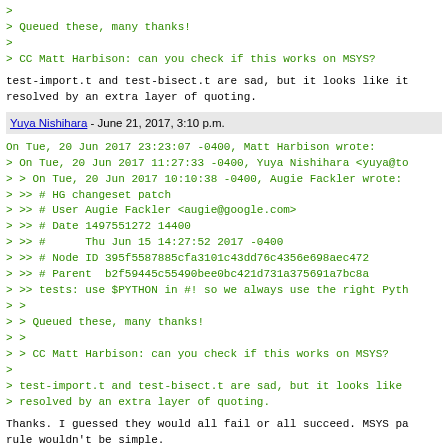> 
> Queued these, many thanks!
>
> CC Matt Harbison: can you check if this works on MSYS?
test-import.t and test-bisect.t are sad, but it looks like it
resolved by an extra layer of quoting.
Yuya Nishihara - June 21, 2017, 3:10 p.m.
On Tue, 20 Jun 2017 23:23:07 -0400, Matt Harbison wrote:
> On Tue, 20 Jun 2017 11:27:33 -0400, Yuya Nishihara <yuya@to
> > On Tue, 20 Jun 2017 10:10:38 -0400, Augie Fackler wrote:
> >> # HG changeset patch
> >> # User Augie Fackler <augie@google.com>
> >> # Date 1497551272 14400
> >> #      Thu Jun 15 14:27:52 2017 -0400
> >> # Node ID 395f5587885cfa3101c43dd76c4356e698aec472
> >> # Parent  b2f59445c55490bee0bc421d731a375691a7bc8a
> >> tests: use $PYTHON in #! so we always use the right Pyth
> >
> > Queued these, many thanks!
> >
> > CC Matt Harbison: can you check if this works on MSYS?
>
> test-import.t and test-bisect.t are sad, but it looks like
> resolved by an extra layer of quoting.
Thanks. I guessed they would all fail or all succeed. MSYS pa
rule wouldn't be simple.
Patch